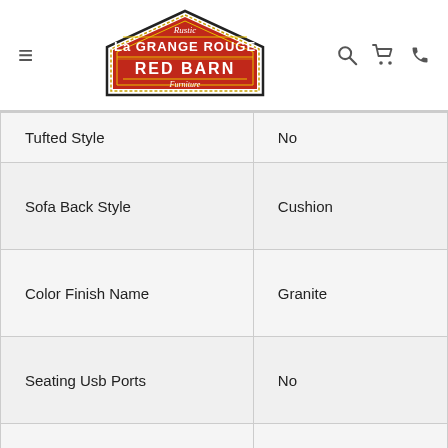[Figure (logo): La Grange Rouge Red Barn logo — red barn-shaped badge with white text on red background, black border, gold trim]
| Tufted Style | No |
| Sofa Back Style | Cushion |
| Color Finish Name | Granite |
| Seating Usb Ports | No |
| Throw Pillows Included | Yes |
| Drop Down Console | No |
|  |  |